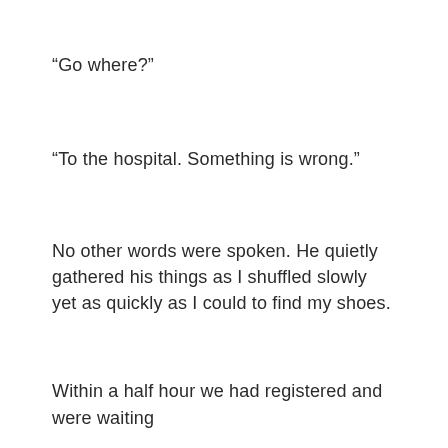"Go where?"
"To the hospital. Something is wrong."
No other words were spoken. He quietly gathered his things as I shuffled slowly yet as quickly as I could to find my shoes.
Within a half hour we had registered and were waiting